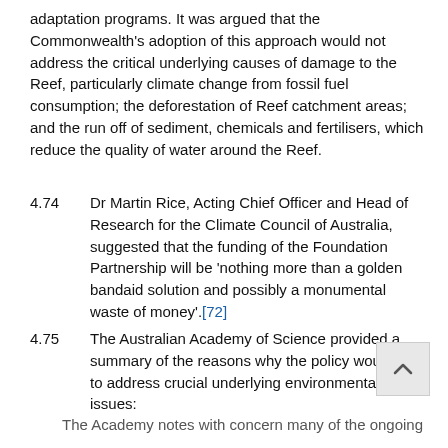adaptation programs. It was argued that the Commonwealth's adoption of this approach would not address the critical underlying causes of damage to the Reef, particularly climate change from fossil fuel consumption; the deforestation of Reef catchment areas; and the run off of sediment, chemicals and fertilisers, which reduce the quality of water around the Reef.
4.74    Dr Martin Rice, Acting Chief Officer and Head of Research for the Climate Council of Australia, suggested that the funding of the Foundation Partnership will be 'nothing more than a golden bandaid solution and possibly a monumental waste of money'.[72]
4.75    The Australian Academy of Science provided a summary of the reasons why the policy would fail to address crucial underlying environmental issues:
The Academy notes with concern many of the ongoing